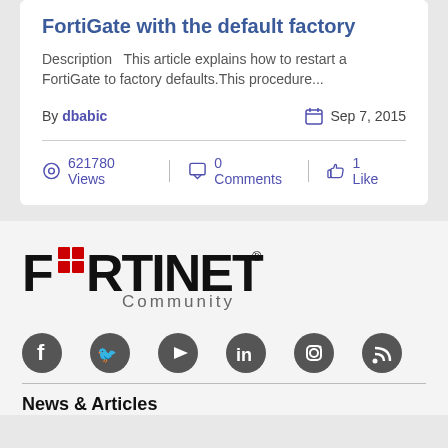Technical Tip: How to reset a FortiGate with the default factory
Description   This article explains how to restart a FortiGate to factory defaults. This procedure...
By dbabic   Sep 7, 2015
621780 Views   0 Comments   1 Like
[Figure (logo): Fortinet Community logo with red grid icon and text]
[Figure (infographic): Social media icons: Facebook, Twitter, YouTube, LinkedIn, Instagram, RSS]
News & Articles